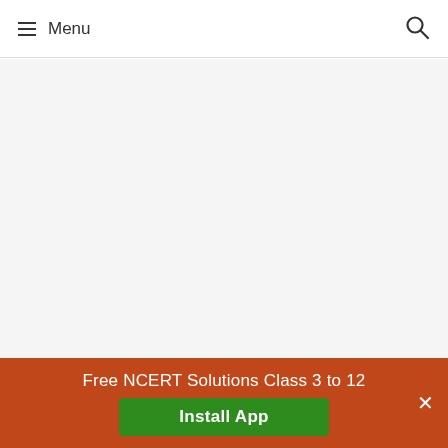Menu
[Figure (other): Advertisement or blank content area with light gray background]
NCERT Solutions for Class 9 Maths Exercise 3.2
Free NCERT Solutions Class 3 to 12
Install App